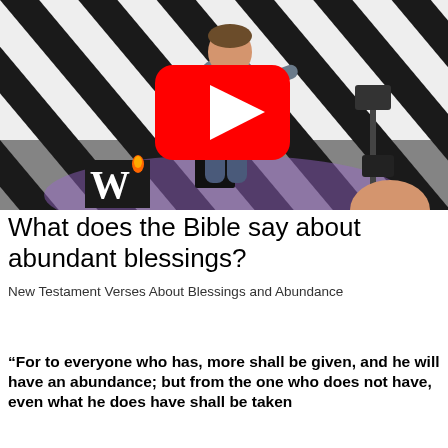[Figure (screenshot): A YouTube video thumbnail showing a man on a church stage speaking/presenting, with a YouTube play button overlay in the center. A 'W' logo (with a flame) appears in the lower-left corner of the video. The background has black and white diagonal stripes with purple lighting.]
What does the Bible say about abundant blessings?
New Testament Verses About Blessings and Abundance
“For to everyone who has, more shall be given, and he will have an abundance; but from the one who does not have, even what he does have shall be taken